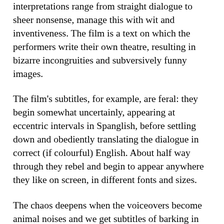interpretations range from straight dialogue to sheer nonsense, manage this with wit and inventiveness. The film is a text on which the performers write their own theatre, resulting in bizarre incongruities and subversively funny images.
The film's subtitles, for example, are feral: they begin somewhat uncertainly, appearing at eccentric intervals in Spanglish, before settling down and obediently translating the dialogue in correct (if colourful) English. About half way through they rebel and begin to appear anywhere they like on screen, in different fonts and sizes.
The chaos deepens when the voiceovers become animal noises and we get subtitles of barking in seven different languages. Or when the film briefly turns into an opera. Sometimes the actors speak in English and the subtitles are Spanish. Sometimes the dialogue is Japanese, or Russian, or German. In between are a couple of song and dance routines and helpful commentaries on the history of Benshi. It's an often hilarious conceit which manages to be constantly surprising.